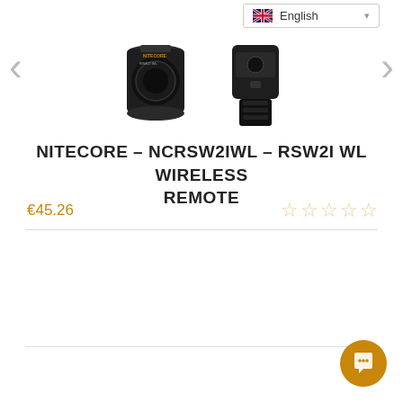[Figure (photo): Product carousel showing two Nitecore products: a lens/adapter and a wireless remote device, with left and right navigation arrows and an English language selector dropdown in the top right.]
NITECORE – NCRSW2IWL – RSW2I WL WIRELESS REMOTE
€45.26
[Figure (other): Five empty star rating icons (0 out of 5 stars) in gold/amber outline]
[Figure (other): Orange circular chat/messenger button in bottom right corner]